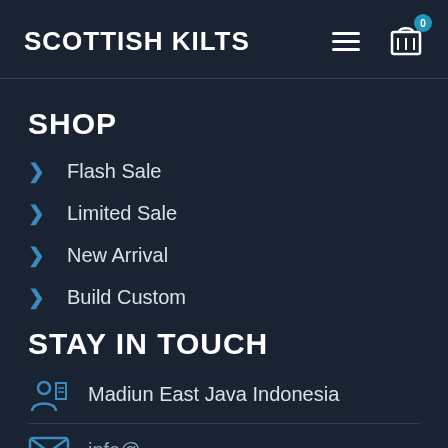SCOTTISH KILTS
SHOP
Flash Sale
Limited Sale
New Arrival
Build Custom
STAY IN TOUCH
Madiun East Java Indonesia
info@...